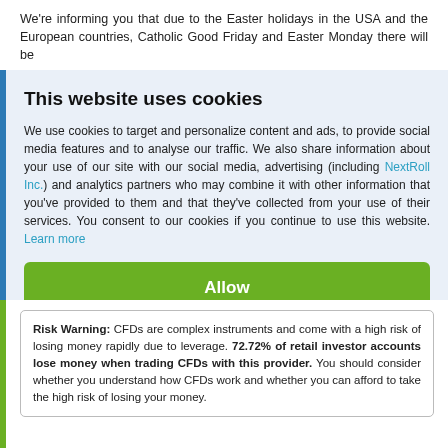We're informing you that due to the Easter holidays in the USA and the European countries, Catholic Good Friday and Easter Monday there will be
This website uses cookies
We use cookies to target and personalize content and ads, to provide social media features and to analyse our traffic. We also share information about your use of our site with our social media, advertising (including NextRoll Inc.) and analytics partners who may combine it with other information that you've provided to them and that they've collected from your use of their services. You consent to our cookies if you continue to use this website. Learn more
Allow
Disallow
Risk Warning: CFDs are complex instruments and come with a high risk of losing money rapidly due to leverage. 72.72% of retail investor accounts lose money when trading CFDs with this provider. You should consider whether you understand how CFDs work and whether you can afford to take the high risk of losing your money.